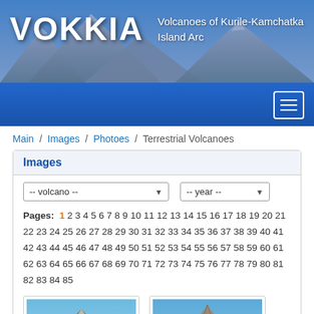[Figure (photo): VOKKIA website header banner with mountain/volcano landscape background, site logo 'VOKKIA' in large white text, and tagline 'Volcanoes of Kurile-Kamchatka Island Arc']
VOKKIA — Volcanoes of Kurile-Kamchatka Island Arc
Main / Images / Photoes / Terrestrial Volcanoes
Images
-- volcano -- | -- year --
Pages: 1 2 3 4 5 6 7 8 9 10 11 12 13 14 15 16 17 18 19 20 21 22 23 24 25 26 27 28 29 30 31 32 33 34 35 36 37 38 39 40 41 42 43 44 45 46 47 48 49 50 51 52 53 54 55 56 57 58 59 60 61 62 63 64 65 66 67 68 69 70 71 72 73 74 75 76 77 78 79 80 81 82 83 84 85
[Figure (photo): Thumbnail photo of a volcano (left)]
[Figure (photo): Thumbnail photo of a volcano (right)]
9/2/2022
9/2/2022